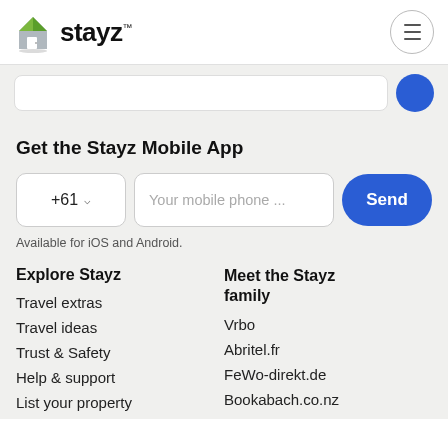[Figure (logo): Stayz logo with stylized house icon and brand name 'stayz' with TM mark]
[Figure (screenshot): Search bar input box with blue circular search button]
Get the Stayz Mobile App
[Figure (screenshot): Phone number input row with +61 country code selector, mobile phone input, and Send button]
Available for iOS and Android.
Explore Stayz
Travel extras
Travel ideas
Trust & Safety
Help & support
List your property
Meet the Stayz family
Vrbo
Abritel.fr
FeWo-direkt.de
Bookabach.co.nz